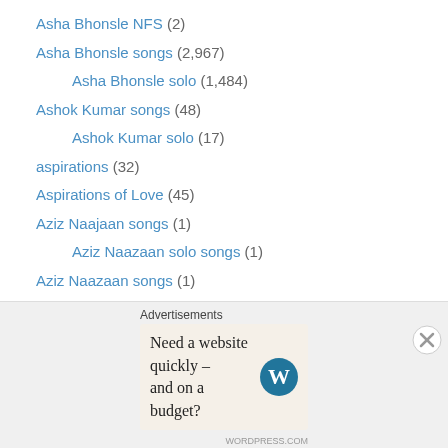Asha Bhonsle NFS (2)
Asha Bhonsle songs (2,967)
Asha Bhonsle solo (1,484)
Ashok Kumar songs (48)
Ashok Kumar solo (17)
aspirations (32)
Aspirations of Love (45)
Aziz Naajaan songs (1)
Aziz Naazaan solo songs (1)
Aziz Naazaan songs (1)
Baag/Bagiya song (43)
Baaraat part song (1)
Baaraat Party song (3)
Babul Supriyo Songs (3)
Bachpan Song (1)
Background song (325)
Advertisements
Need a website quickly – and on a budget?